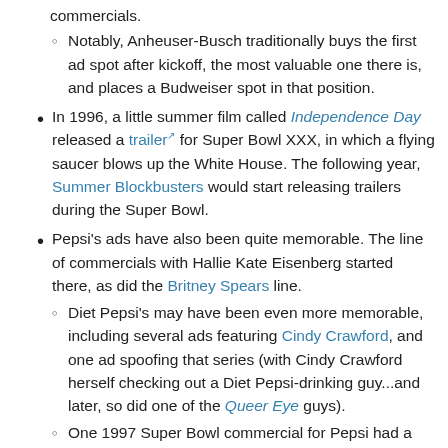commercials.
Notably, Anheuser-Busch traditionally buys the first ad spot after kickoff, the most valuable one there is, and places a Budweiser spot in that position.
In 1996, a little summer film called Independence Day released a trailer for Super Bowl XXX, in which a flying saucer blows up the White House. The following year, Summer Blockbusters would start releasing trailers during the Super Bowl.
Pepsi's ads have also been quite memorable. The line of commercials with Hallie Kate Eisenberg started there, as did the Britney Spears line.
Diet Pepsi's may have been even more memorable, including several ads featuring Cindy Crawford, and one ad spoofing that series (with Cindy Crawford herself checking out a Diet Pepsi-drinking guy...and later, so did one of the Queer Eye guys).
One 1997 Super Bowl commercial for Pepsi had a